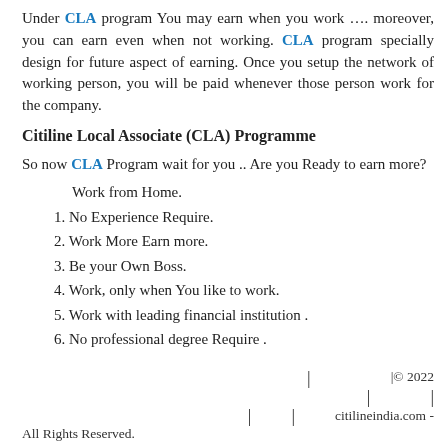Under CLA program You may earn when you work …. moreover, you can earn even when not working. CLA program specially design for future aspect of earning. Once you setup the network of working person, you will be paid whenever those person work for the company.
Citiline Local Associate (CLA) Programme
So now CLA Program wait for you .. Are you Ready to earn more?
Work from Home.
1. No Experience Require.
2. Work More Earn more.
3. Be your Own Boss.
4. Work, only when You like to work.
5. Work with leading financial institution .
6. No professional degree Require .
| |© 2022 | | citilineindia.com - All Rights Reserved.